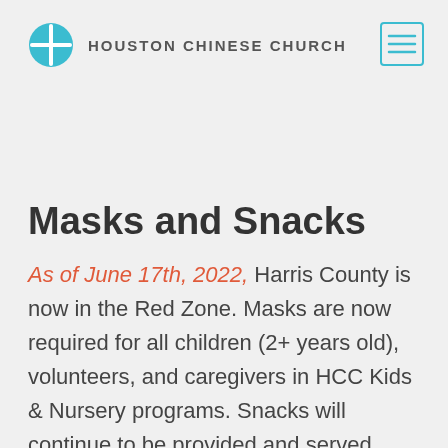HOUSTON CHINESE CHURCH
Masks and Snacks
As of June 17th, 2022, Harris County is now in the Red Zone. Masks are now required for all children (2+ years old), volunteers, and caregivers in HCC Kids & Nursery programs. Snacks will continue to be provided and served. Parents should plan to prepare a canteen/water bottle for their child to bring